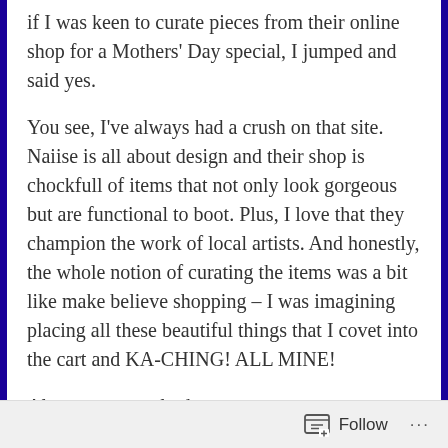if I was keen to curate pieces from their online shop for a Mothers' Day special, I jumped and said yes.
You see, I've always had a crush on that site. Naiise is all about design and their shop is chockfull of items that not only look gorgeous but are functional to boot. Plus, I love that they champion the work of local artists. And honestly, the whole notion of curating the items was a bit like make believe shopping – I was imagining placing all these beautiful things that I covet into the cart and KA-CHING! ALL MINE!
Alas, one can only dream.
(I'm always hoping that I can decorate our home all over again, much to the chagrin of poor Mr Thick. I mean, my
Follow ···